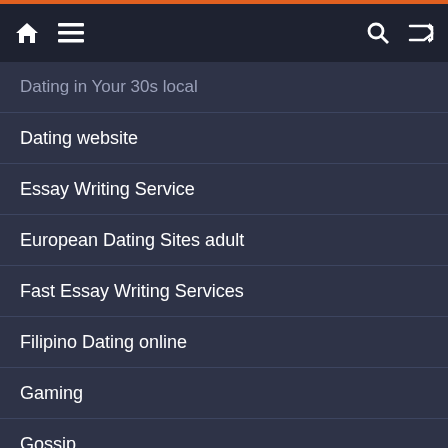Navigation menu bar with home, menu, search, and shuffle icons
Dating in Your 30s local
Dating website
Essay Writing Service
European Dating Sites adult
Fast Essay Writing Services
Filipino Dating online
Gaming
Gossip
Health
last minute essay writing service
Lifestyle
Loans
New Post